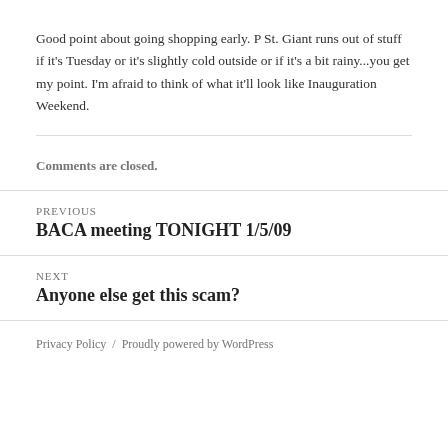Good point about going shopping early. P St. Giant runs out of stuff if it's Tuesday or it's slightly cold outside or if it's a bit rainy...you get my point. I'm afraid to think of what it'll look like Inauguration Weekend.
Comments are closed.
PREVIOUS
BACA meeting TONIGHT 1/5/09
NEXT
Anyone else get this scam?
Privacy Policy  /  Proudly powered by WordPress